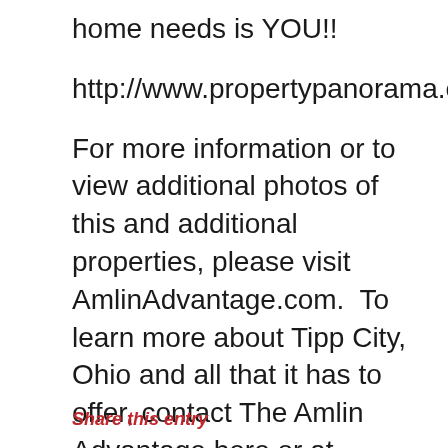home needs is YOU!!
http://www.propertypanorama.com/instavi
For more information or to view additional photos of this and additional properties, please visit AmlinAdvantage.com.  To learn more about Tipp City, Ohio and all that it has to offer, contact The Amlin Advantage here or at contact@AmlinAdvantage.com 937-667-1950.
Share this entry